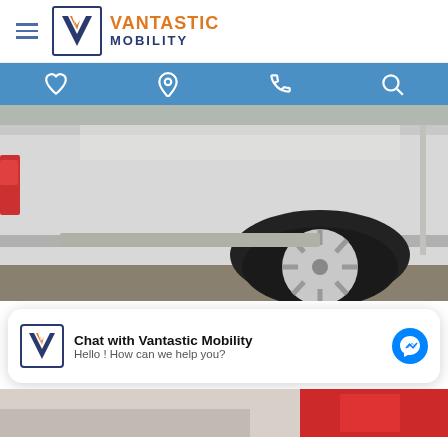Vantastic Mobility
[Figure (photo): Side view of a white van showing the rear wheel, wheel well, and lower body panels in a parking lot]
Chat with Vantastic Mobility
Hello ! How can we help you?
[Figure (photo): Bottom strip showing partial view of another vehicle]